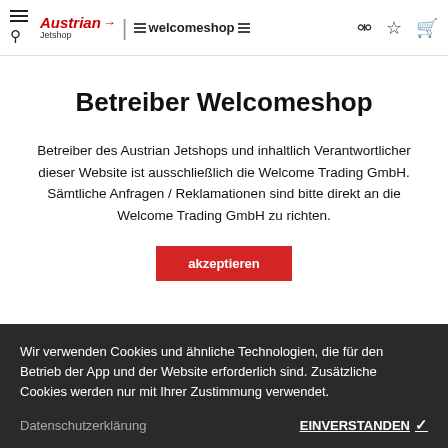Austrian Jetshop | welcomeshop
Betreiber Welcomeshop
Betreiber des Austrian Jetshops und inhaltlich Verantwortlicher dieser Website ist ausschließlich die Welcome Trading GmbH. Sämtliche Anfragen / Reklamationen sind bitte direkt an die Welcome Trading GmbH zu richten.
akzeptieren
Wir verwenden Cookies und ähnliche Technologien, die für den Betrieb der App und der Website erforderlich sind. Zusätzliche Cookies werden nur mit Ihrer Zustimmung verwendet.
Datenschutzerklärung   EINVERSTANDEN ✓